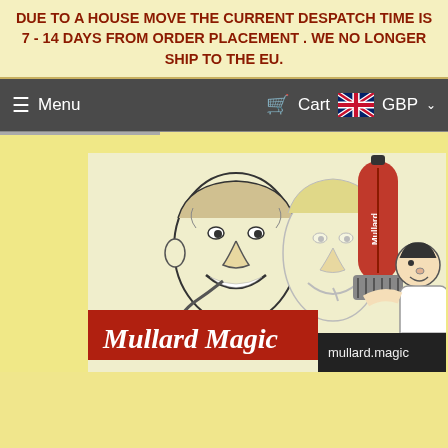DUE TO A HOUSE MOVE THE CURRENT DESPATCH TIME IS 7 - 14 DAYS FROM ORDER PLACEMENT . WE NO LONGER SHIP TO THE EU.
≡ Menu   🛒 Cart  🇬🇧 GBP ▾
[Figure (illustration): Mullard Magic vintage advertisement image showing two illustrated men, a large red Mullard vacuum tube being held by a cartoon man, with 'Mullard Magic' text on a red banner and 'mullard.magic' logo in the bottom right corner.]